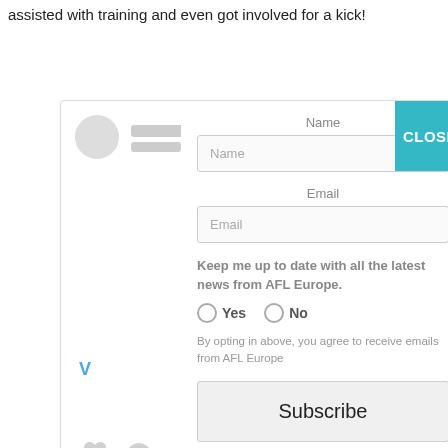assisted with training and even got involved for a kick!
[Figure (screenshot): A modal subscription form overlaid on a social media post screenshot. The form has fields for Name and Email, radio buttons for Yes/No newsletter opt-in, opt-in consent text, and a Subscribe button. A teal CLOSE button is in the top-right corner.]
Name
Name
Email
Email
Keep me up to date with all the latest news from AFL Europe.
Yes
No
By opting in above, you agree to receive emails from AFL Europe
Subscribe